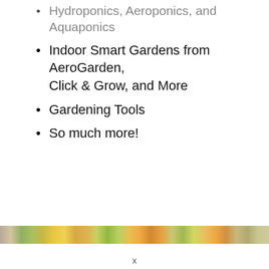Hydroponics, Aeroponics, and Aquaponics
Indoor Smart Gardens from AeroGarden, Click & Grow, and More
Gardening Tools
So much more!
[Figure (photo): A horizontal strip photo showing colorful fruits and vegetables including greens, yellows, oranges and reds arranged closely together.]
x